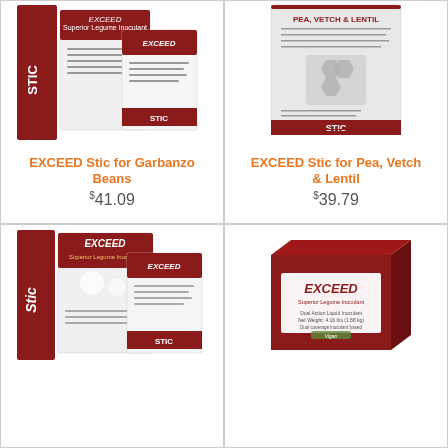[Figure (photo): EXCEED Stic for Garbanzo Beans product packaging - red and white boxes/bags with STIC and EXCEED branding]
EXCEED Stic for Garbanzo Beans
$41.09
[Figure (photo): EXCEED Stic for Pea, Vetch & Lentil product packaging - white bag with STIC label and hexagon pattern]
EXCEED Stic for Pea, Vetch & Lentil
$39.79
[Figure (photo): EXCEED Stic product packaging - red and white boxes/bags with STIC and EXCEED branding]
[Figure (photo): EXCEED Dual Action Liquid Inoculant box - red and white box with Exceed and Vigan branding]